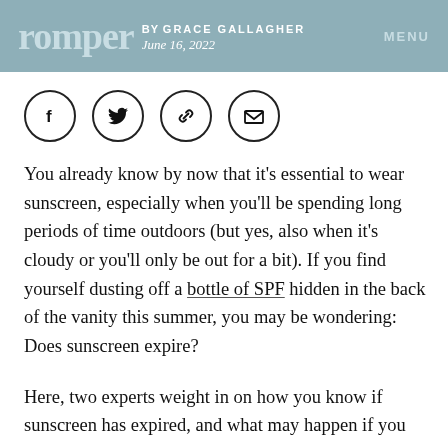romper by GRACE GALLAGHER June 16, 2022 MENU
[Figure (other): Social sharing icons: Facebook, Twitter, link/chain, email envelope — each in a circle outline]
You already know by now that it’s essential to wear sunscreen, especially when you’ll be spending long periods of time outdoors (but yes, also when it’s cloudy or you’ll only be out for a bit). If you find yourself dusting off a bottle of SPF hidden in the back of the vanity this summer, you may be wondering: Does sunscreen expire?
Here, two experts weight in on how you know if sunscreen has expired, and what may happen if you use